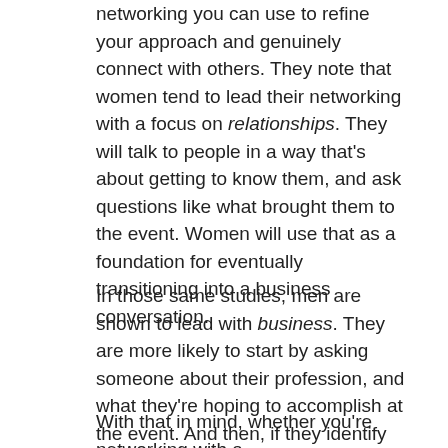networking you can use to refine your approach and genuinely connect with others. They note that women tend to lead their networking with a focus on relationships. They will talk to people in a way that's about getting to know them, and ask questions like what brought them to the event. Women will use that as a foundation for eventually transitioning into a business conversation.
In those same studies, men are shown to lead with business. They are more likely to start by asking someone about their profession, and what they're hoping to accomplish at the event. And then, if they identify common interests they will evaluate the relationship as one to move forward with at that point.
With that in mind, whether you're networking with a